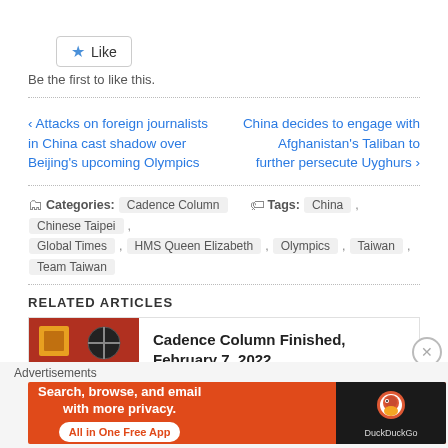[Figure (other): Like button widget with star icon]
Be the first to like this.
‹ Attacks on foreign journalists in China cast shadow over Beijing's upcoming Olympics
China decides to engage with Afghanistan's Taliban to further persecute Uyghurs ›
Categories: Cadence Column   Tags: China , Chinese Taipei , Global Times , HMS Queen Elizabeth , Olympics , Taiwan , Team Taiwan
RELATED ARTICLES
Cadence Column Finished, February 7, 2022
Advertisements
[Figure (screenshot): DuckDuckGo advertisement banner: Search, browse, and email with more privacy. All in One Free App. DuckDuckGo logo on dark background.]